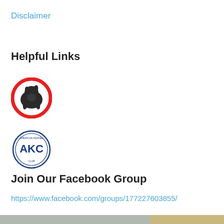Disclaimer
Helpful Links
[Figure (logo): Circular logo with red border containing a dark animal silhouette (dog breed club logo)]
[Figure (logo): American Kennel Club (AKC) circular blue stamp/seal logo]
Join Our Facebook Group
https://www.facebook.com/groups/177227603855/
[Figure (photo): Partial image visible at the bottom of the page]